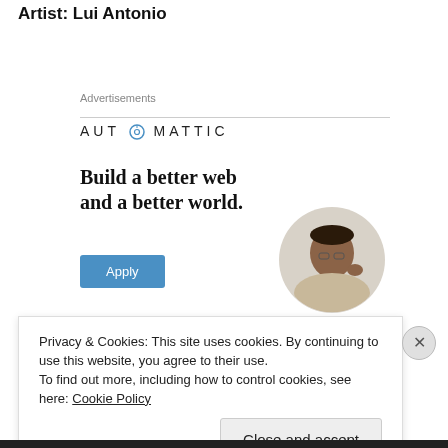Artist: Lui Antonio
Advertisements
[Figure (other): Automattic advertisement banner with logo, headline 'Build a better web and a better world.', an Apply button, and a circular photo of a man thinking]
Privacy & Cookies: This site uses cookies. By continuing to use this website, you agree to their use.
To find out more, including how to control cookies, see here: Cookie Policy
Close and accept